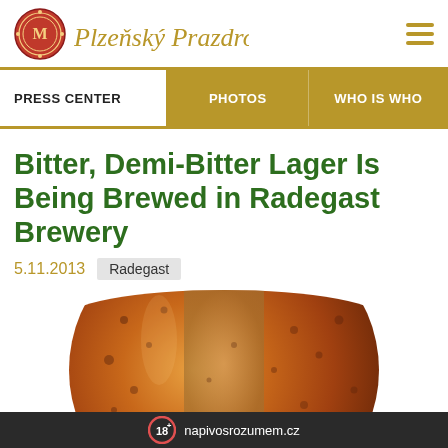Plzeňský Prazdroj
PRESS CENTER | PHOTOS | WHO IS WHO
Bitter, Demi-Bitter Lager Is Being Brewed in Radegast Brewery
5.11.2013   Radegast
[Figure (photo): Close-up of a wet amber beer bottle with condensation droplets]
18+ napivosrozumem.cz